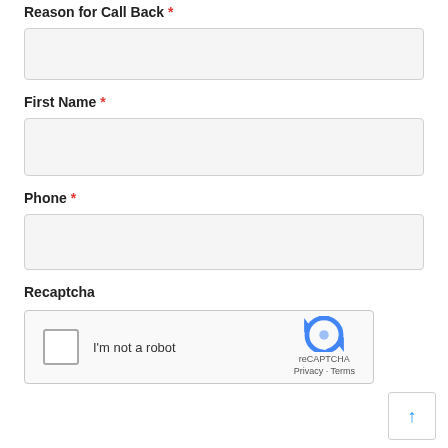Reason for Call Back *
First Name *
Phone *
Recaptcha
[Figure (other): reCAPTCHA widget with checkbox 'I'm not a robot' and reCAPTCHA logo with Privacy and Terms links]